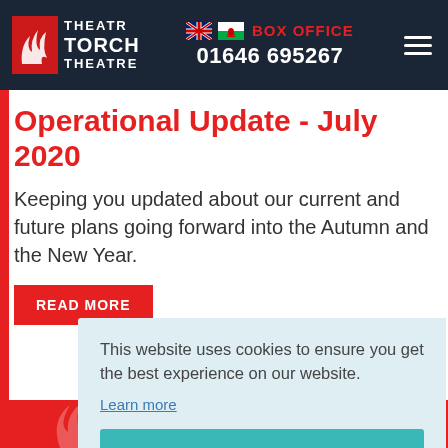THEATR TORCH THEATRE | BOX OFFICE 01646 695267
Operational Update - July 2020
Keeping you updated about our current and future plans going forward into the Autumn and the New Year.
READ MORE
This website uses cookies to ensure you get the best experience on our website.
Learn more
Got it!